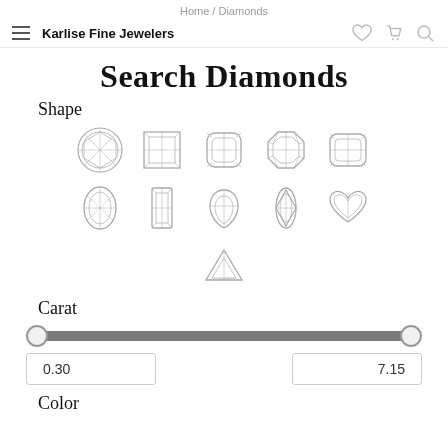Home / Diamonds
Karlise Fine Jewelers
Search Diamonds
Shape
[Figure (illustration): Grid of diamond shapes: round, princess, cushion, asscher, radiant (row 1); oval, emerald, pear, marquise, heart (row 2); trillion (row 3)]
Carat
[Figure (other): Range slider for carat with thumbs at min and max]
0.30
7.15
Color